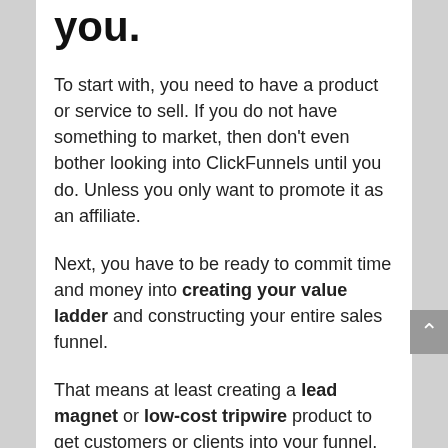you.
To start with, you need to have a product or service to sell. If you do not have something to market, then don't even bother looking into ClickFunnels until you do. Unless you only want to promote it as an affiliate.
Next, you have to be ready to commit time and money into creating your value ladder and constructing your entire sales funnel.
That means at least creating a lead magnet or low-cost tripwire product to get customers or clients into your funnel. And then coming up with appropriate upsells, order bumps and other OTOs that match or enhance your principal product offering.